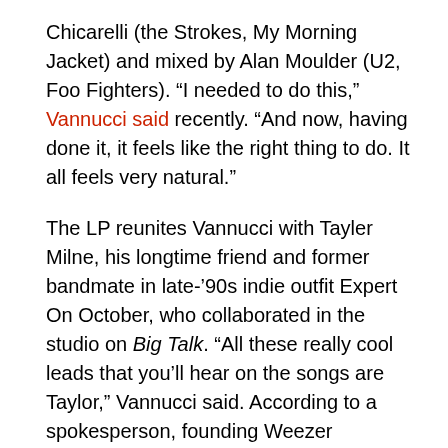Chicarelli (the Strokes, My Morning Jacket) and mixed by Alan Moulder (U2, Foo Fighters). “I needed to do this,” Vannucci said recently. “And now, having done it, it feels like the right thing to do. It all feels very natural.”
The LP reunites Vannucci with Tayler Milne, his longtime friend and former bandmate in late-’90s indie outfit Expert On October, who collaborated in the studio on Big Talk. “All these really cool leads that you’ll hear on the songs are Taylor,” Vannucci said. According to a spokesperson, founding Weezer member Matt Sharp — who also fronts indie-pop project the Rentals — played bass on Big Talk.
Big Talk will hit the road this summer; complete dates expected soon. Visit the Epitaph Records site for more